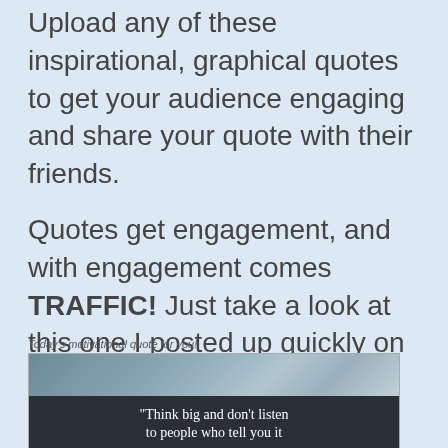Upload any of these inspirational, graphical quotes to get your audience engaging and share your quote with their friends.
Quotes get engagement, and with engagement comes TRAFFIC! Just take a look at this one I posted up quickly on a Facebook business page:
Today's motivational quote for you!
[Figure (screenshot): Screenshot of a Facebook post showing a motivational quote image. The image has a dark teal/gray bokeh background on top and a dark navy/charcoal bottom section with white serif text reading: “Think big and don’t listen to people who tell you it]